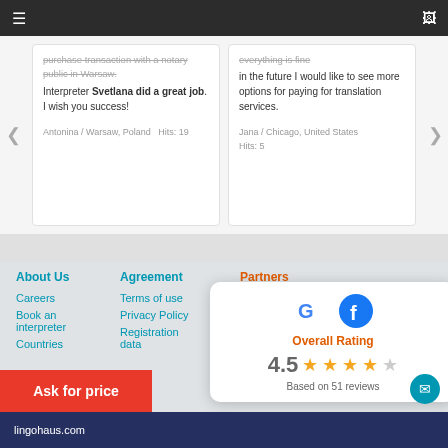Navigation header with hamburger menu and monitor icon
purchase transaction with a notary public in Warsaw. Interpreter Svetlana did a great job. I wish you success!
Antonina / Warsaw, Poland   Hits: 19
everything is fine in the future I would like to see more options for paying for translation services.
Jana / Chicago, United States  Hits: 5
About Us
Careers
Book an interpreter
Countries
Agreement
Terms of use
Privacy Policy
Registration data
Partners
[Figure (logo): Social media icons: Facebook, Instagram, LinkedIn]
[Figure (infographic): Overall Rating card showing Google and Facebook logos, rating 4.5 stars, Based on 51 reviews]
lingohaus.com